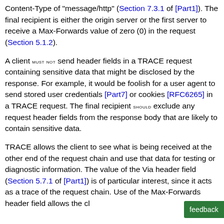Content-Type of "message/http" (Section 7.3.1 of [Part1]). The final recipient is either the origin server or the first server to receive a Max-Forwards value of zero (0) in the request (Section 5.1.2).
A client MUST NOT send header fields in a TRACE request containing sensitive data that might be disclosed by the response. For example, it would be foolish for a user agent to send stored user credentials [Part7] or cookies [RFC6265] in a TRACE request. The final recipient SHOULD exclude any request header fields from the response body that are likely to contain sensitive data.
TRACE allows the client to see what is being received at the other end of the request chain and use that data for testing or diagnostic information. The value of the Via header field (Section 5.7.1 of [Part1]) is of particular interest, since it acts as a trace of the request chain. Use of the Max-Forwards header field allows the cl... the length of the request chain which is of dfor...